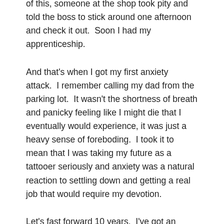of this, someone at the shop took pity and told the boss to stick around one afternoon and check it out.  Soon I had my apprenticeship.
And that's when I got my first anxiety attack.  I remember calling my dad from the parking lot.  It wasn't the shortness of breath and panicky feeling like I might die that I eventually would experience, it was just a heavy sense of foreboding.  I took it to mean that I was taking my future as a tattooer seriously and anxiety was a natural reaction to settling down and getting a real job that would require my devotion.
Let's fast forward 10 years.  I've got an